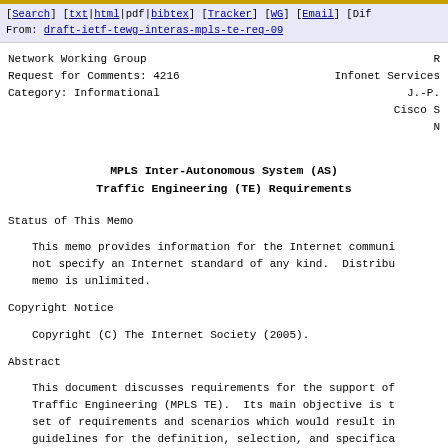[Search] [txt|html|pdf|bibtex] [Tracker] [WG] [Email] [Dif
From: draft-ietf-tewg-interas-mpls-te-req-09
Network Working Group                                          R
Request for Comments: 4216                          Infonet Services
Category: Informational                                          J.-P.
                                                              Cisco S
                                                                     N
MPLS Inter-Autonomous System (AS)
Traffic Engineering (TE) Requirements
Status of This Memo
This memo provides information for the Internet communi
not specify an Internet standard of any kind.  Distribu
memo is unlimited.
Copyright Notice
Copyright (C) The Internet Society (2005).
Abstract
This document discusses requirements for the support of
Traffic Engineering (MPLS TE).  Its main objective is t
set of requirements and scenarios which would result in
guidelines for the definition, selection, and specifica